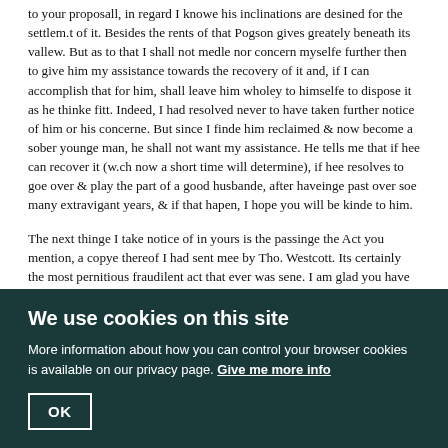to your proposall, in regard I knowe his inclinations are desined for the settlem.t of it. Besides the rents of that Pogson gives greately beneath its vallew. But as to that I shall not medle nor concern myselfe further then to give him my assistance towards the recovery of it and, if I can accomplish that for him, shall leave him wholey to himselfe to dispose it as he thinke fitt. Indeed, I had resolved never to have taken further notice of him or his concerne. But since I finde him reclaimed & now become a sober younge man, he shall not want my assistance. He tells me that if hee can recover it (w.ch now a short time will determine), if hee resolves to goe over & play the part of a good husbande, after haveinge past over soe many extravigant years, & if that hapen, I hope you will be kinde to him.
The next thinge I take notice of in yours is the passinge the Act you mention, a copye thereof I had sent mee by Tho. Westcott. Its certainly the most pernitious fraudilent act that ever was sene. I am glad you have noe hand in it, but you did it by comand. For otherwise I doubt your assent thereunto would have been some reflection upon you. Here are severall adresses makeinge to the K. & Councell to iniciate it, w.ch will doubtles bee harde, and noe doubt but it will bee made voyde. & Certainely the Islands will finde they have don themselves an injuiry in it. Noethinge can bee more repugnant to the lawes of
We use cookies on this site
More information about how you can control your browser cookies is available on our privacy page. Give me more info
OK